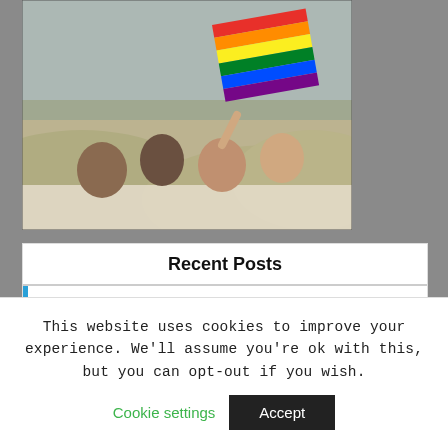[Figure (photo): Group of young people holding a rainbow pride flag out of a car sunroof against a scenic backdrop]
Recent Posts
Avalon A4 Water Cooler A4BLWTRCLR Review
Big Berkey Vs Seychelle Water Filter
This website uses cookies to improve your experience. We'll assume you're ok with this, but you can opt-out if you wish.
Cookie settings
Accept